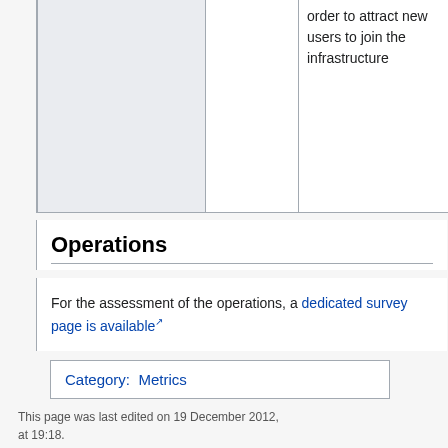|  |  | order to attract new users to join the infrastructure |
Operations
For the assessment of the operations, a dedicated survey page is available
| Category:  Metrics |
This page was last edited on 19 December 2012, at 19:18.
Privacy policy   Report a problem
Disclaimers